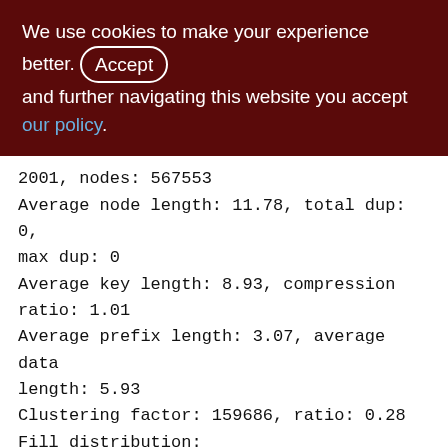We use cookies to make your experience better. By clicking and further navigating this website you accept our policy.
2001, nodes: 567553
Average node length: 11.78, total dup: 0, max dup: 0
Average key length: 8.93, compression ratio: 1.01
Average prefix length: 3.07, average data length: 5.93
Clustering factor: 159686, ratio: 0.28
Fill distribution:
0 - 19% = 0
20 - 39% = 912
40 - 59% = 1089
60 - 79% = 0